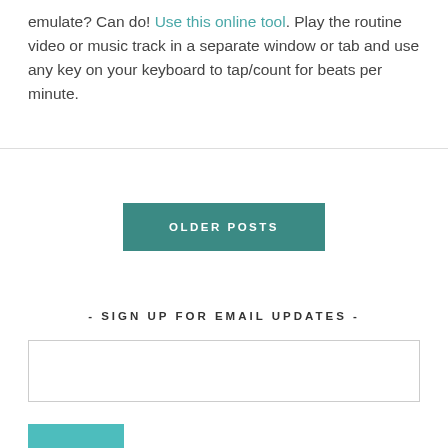emulate? Can do! Use this online tool. Play the routine video or music track in a separate window or tab and use any key on your keyboard to tap/count for beats per minute.
OLDER POSTS
- SIGN UP FOR EMAIL UPDATES -